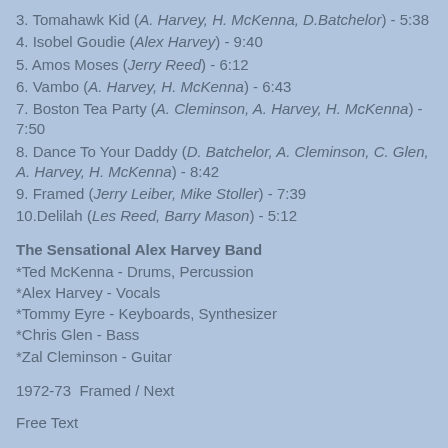3. Tomahawk Kid (A. Harvey, H. McKenna, D.Batchelor) - 5:38
4. Isobel Goudie (Alex Harvey) - 9:40
5. Amos Moses (Jerry Reed) - 6:12
6. Vambo (A. Harvey, H. McKenna) - 6:43
7. Boston Tea Party (A. Cleminson, A. Harvey, H. McKenna) - 7:50
8. Dance To Your Daddy (D. Batchelor, A. Cleminson, C. Glen, A. Harvey, H. McKenna) - 8:42
9. Framed (Jerry Leiber, Mike Stoller) - 7:39
10.Delilah (Les Reed, Barry Mason) - 5:12
The Sensational Alex Harvey Band
*Ted McKenna - Drums, Percussion
*Alex Harvey - Vocals
*Tommy Eyre - Keyboards, Synthesizer
*Chris Glen - Bass
*Zal Cleminson - Guitar
1972-73  Framed / Next
Free Text